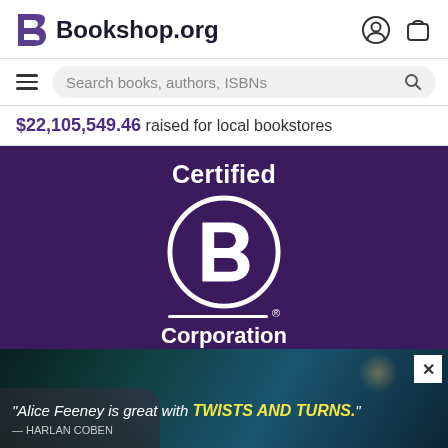Bookshop.org
Search books, authors, ISBNs
$22,105,549.46 raised for local bookstores
[Figure (logo): Certified B Corporation logo on dark purple background with large white circle containing white B letterform, text 'Certified' above and 'Corporation' below with registered trademark symbol]
[Figure (photo): Advertisement banner with dark teal/ocean background showing quote: 'Alice Feeney is great with TWISTS AND TURNS.' — HARLAN COBEN, with close X button in top right corner]